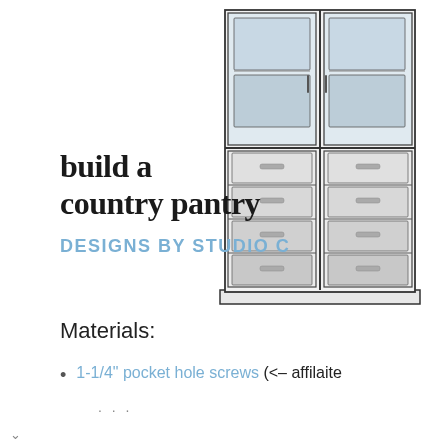[Figure (illustration): Line drawing / schematic illustration of a tall country pantry cabinet with glass-paneled upper doors showing shelves, and lower section with multiple drawers with handles. The cabinet is shown in a 3D perspective technical drawing style with black outlines and grey shading.]
build a country pantry
DESIGNS BY STUDIO C
Materials:
1-1/4" pocket hole screws (<– affilaite link...)